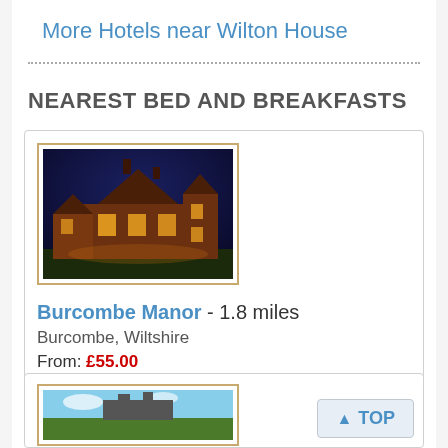More Hotels near Wilton House
NEAREST BED AND BREAKFASTS
[Figure (photo): Night-time photo of Burcombe Manor, a historic stone manor house lit with warm orange lighting against a dark blue sky]
Burcombe Manor - 1.8 miles
Burcombe, Wiltshire
From: £55.00
[Figure (photo): Partial photo of a second bed and breakfast property]